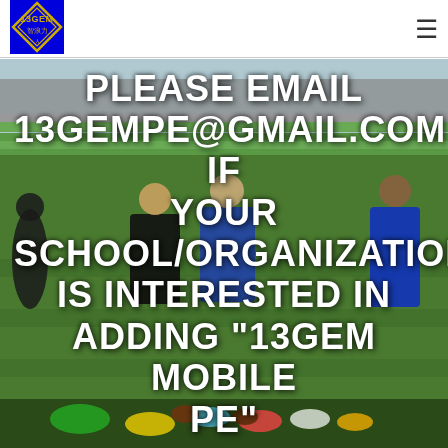[Figure (logo): 13GEM logo — blue hexagonal diamond shape with gold border, '13GEM' text and Chinese characters inside]
[Figure (photo): Sports field photo showing athletes in football jerseys standing on a green field with stadium bleachers in the background, various colorful sports equipment on the ground]
PLEASE EMAIL 13GEMPE@GMAIL.COM IF YOUR SCHOOL/ORGANIZATION IS INTERESTED IN ADDING "13GEM MOBILE PE"